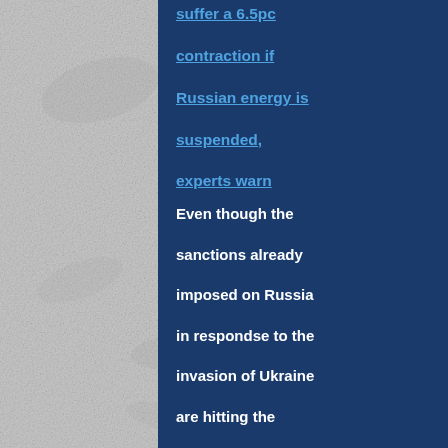[Figure (photo): Grey textured background occupying the left portion of the page]
suffer a 6.5pc contraction if Russian energy is suspended, experts warn
Even though the sanctions already imposed on Russia in respondse to the invasion of Ukraine are hitting the nations that imposed then harder that their intended target, the EU is preparing to committ economic